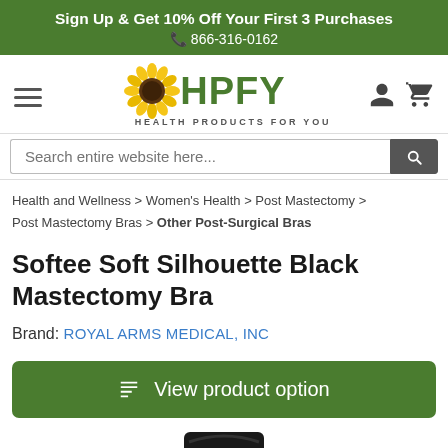Sign Up & Get 10% Off Your First 3 Purchases
📞 866-316-0162
[Figure (logo): HPFY Health Products For You logo with sunflower icon, hamburger menu, user icon and cart icon]
Search entire website here...
Health and Wellness > Women's Health > Post Mastectomy > Post Mastectomy Bras > Other Post-Surgical Bras
Softee Soft Silhouette Black Mastectomy Bra
Brand: ROYAL ARMS MEDICAL, INC
View product option
[Figure (photo): Partial view of a black mastectomy bra product image at bottom of page]